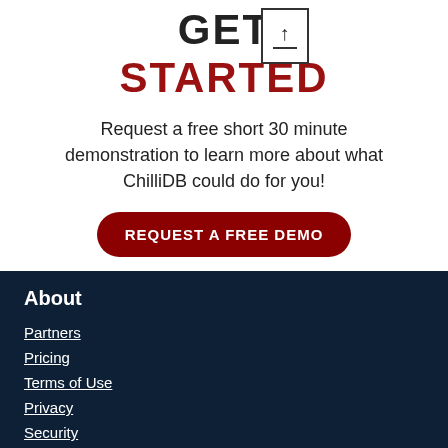GET STARTED
Request a free short 30 minute demonstration to learn more about what ChilliDB could do for you!
REQUEST A FREE DEMO
About
Partners
Pricing
Terms of Use
Privacy
Security
What is a CRM
More